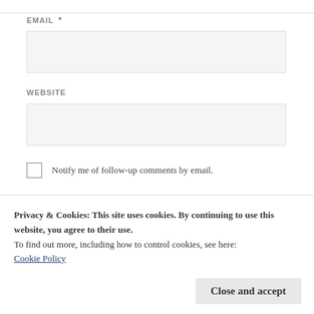EMAIL *
WEBSITE
Notify me of follow-up comments by email.
Notify me of new posts by email.
Privacy & Cookies: This site uses cookies. By continuing to use this website, you agree to their use.
To find out more, including how to control cookies, see here: Cookie Policy
Close and accept